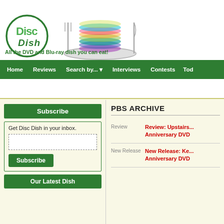[Figure (logo): Disc Dish logo: green circle with 'Disc Dish' text, alongside a photo of stacked DVDs/Blu-rays on a plate with fork and knife]
All the DVD and Blu-ray dish you can eat!
Home | Reviews | Search by... | Interviews | Contests | Tod...
Subscribe
Get Disc Dish in your inbox.
Subscribe
Our Latest Dish
PBS ARCHIVE
Review — Review: Upstairs... Anniversary DVD
New Release — New Release: Ke... Anniversary DVD